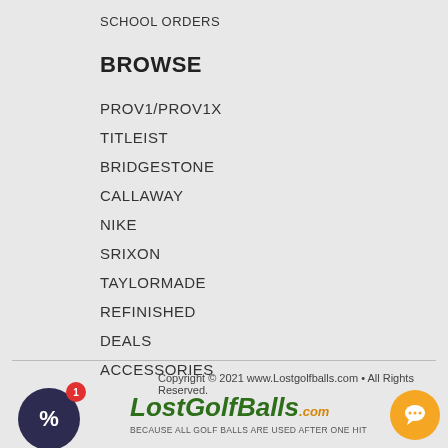SCHOOL ORDERS
BROWSE
PROV1/PROV1X
TITLEIST
BRIDGESTONE
CALLAWAY
NIKE
SRIXON
TAYLORMADE
REFINISHED
DEALS
ACCESSORIES
Copyright © 2021 www.Lostgolfballs.com • All Rights Reserved.
[Figure (logo): LostGolfBalls.com logo with tagline: BECAUSE ALL GOLF BALLS ARE USED AFTER ONE HIT]